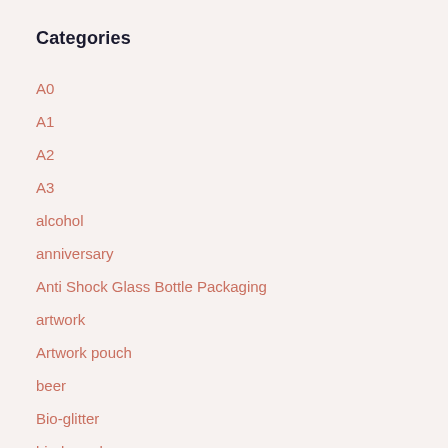Categories
A0
A1
A2
A3
alcohol
anniversary
Anti Shock Glass Bottle Packaging
artwork
Artwork pouch
beer
Bio-glitter
biodegrade